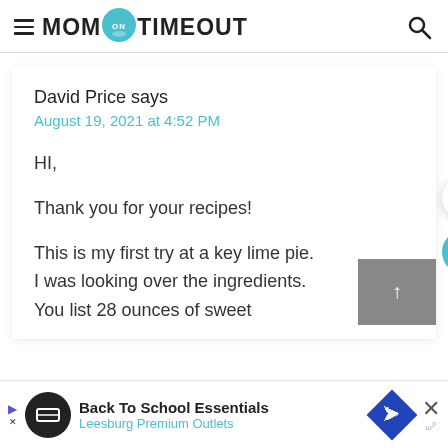MOM ON TIMEOUT
David Price says
August 19, 2021 at 4:52 PM
HI,

Thank you for your recipes!

This is my first try at a key lime pie. I was looking over the ingredients. You list 28 ounces of sweet
89.0k
Back To School Essentials
Leesburg Premium Outlets